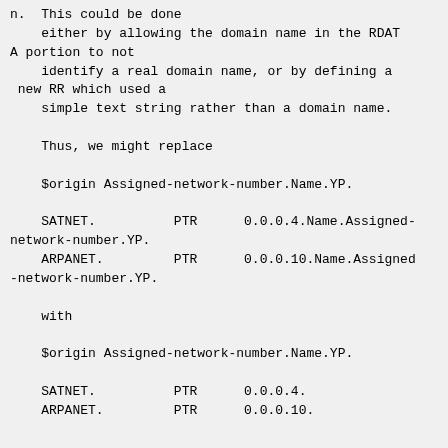n.  This could be done
    either by allowing the domain name in the RDATA portion to not
    identify a real domain name, or by defining a new RR which used a
    simple text string rather than a domain name.

    Thus, we might replace

    $origin Assigned-network-number.Name.YP.

    SATNET.          PTR      0.0.0.4.Name.Assigned-network-number.YP.
    ARPANET.         PTR      0.0.0.10.Name.Assigned-network-number.YP.

    with

    $origin Assigned-network-number.Name.YP.

    SATNET.          PTR      0.0.0.4.
    ARPANET.         PTR      0.0.0.10.